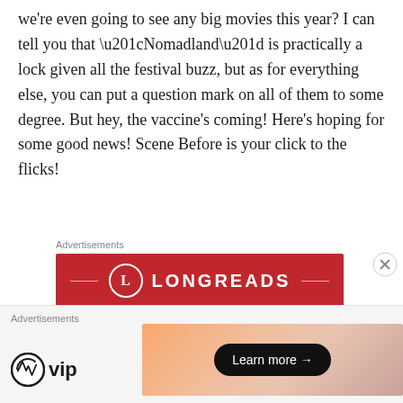we're even going to see any big movies this year? I can tell you that “Nomadland” is practically a lock given all the festival buzz, but as for everything else, you can put a question mark on all of them to some degree. But hey, the vaccine’s coming! Here’s hoping for some good news! Scene Before is your click to the flicks!
Advertisements
[Figure (other): Longreads advertisement banner with red background, circular L logo, LONGREADS wordmark, and tagline 'The best stories on']
Advertisements
[Figure (other): WordPress VIP logo on left with a gradient banner on right containing a 'Learn more ->' button]